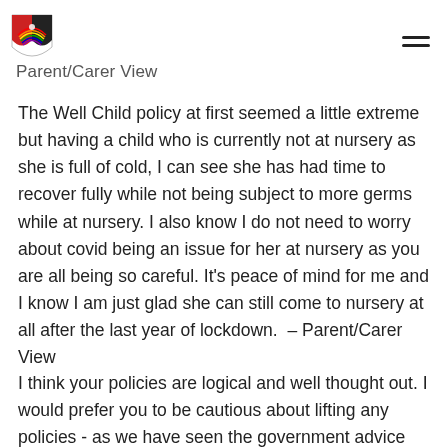Parent/Carer View
The Well Child policy at first seemed a little extreme but having a child who is currently not at nursery as she is full of cold, I can see she has had time to recover fully while not being subject to more germs while at nursery. I also know I do not need to worry about covid being an issue for her at nursery as you are all being so careful. It's peace of mind for me and I know I am just glad she can still come to nursery at all after the last year of lockdown.  – Parent/Carer View
I think your policies are logical and well thought out. I would prefer you to be cautious about lifting any policies - as we have seen the government advice has